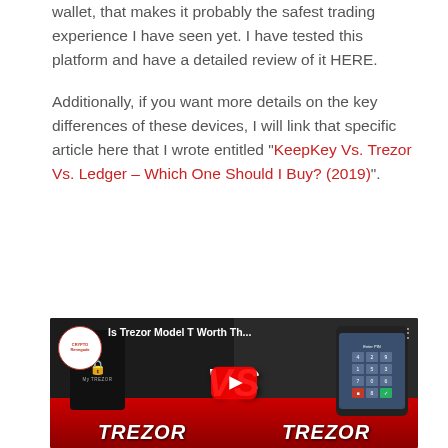wallet, that makes it probably the safest trading experience I have seen yet. I have tested this platform and have a detailed review of it HERE.

Additionally, if you want more details on the key differences of these devices, I will link that specific article here that I wrote entitled "KeepKey Vs. Trezor Vs. Ledger – Which One Should I Buy? (2019)".
[Figure (screenshot): YouTube video thumbnail for 'Is Trezor Model T Worth Th...' showing two Trezor hardware wallets side by side with VS text overlay, a YouTube play button, and the Crypto Renegade logo. The bottom shows TREZOR text on both sides.]